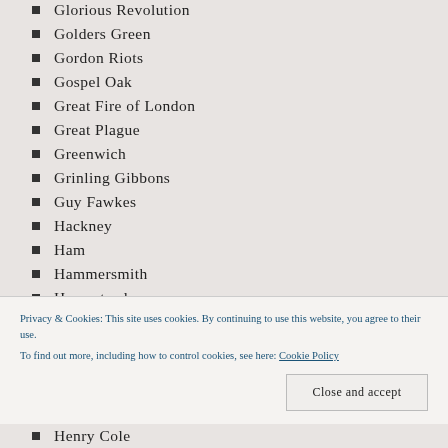Glorious Revolution
Golders Green
Gordon Riots
Gospel Oak
Great Fire of London
Great Plague
Greenwich
Grinling Gibbons
Guy Fawkes
Hackney
Ham
Hammersmith
Hampstead
Hampton
Hampton Court Palace
Privacy & Cookies: This site uses cookies. By continuing to use this website, you agree to their use. To find out more, including how to control cookies, see here: Cookie Policy
Henry Cole